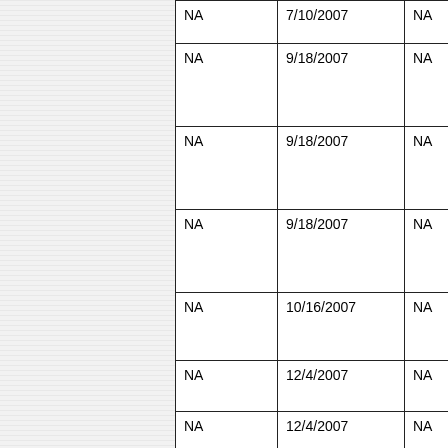| NA | 7/10/2007 | NA |
| NA | 9/18/2007 | NA |
| NA | 9/18/2007 | NA |
| NA | 9/18/2007 | NA |
| NA | 10/16/2007 | NA |
| NA | 12/4/2007 | NA |
| NA | 12/4/2007 | NA |
| NA | 2/6/2008 | NA |